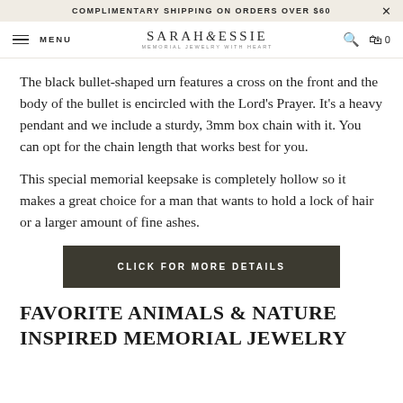COMPLIMENTARY SHIPPING ON ORDERS OVER $60
MENU SARAH & ESSIE MEMORIAL JEWELRY WITH HEART
The black bullet-shaped urn features a cross on the front and the body of the bullet is encircled with the Lord's Prayer. It's a heavy pendant and we include a sturdy, 3mm box chain with it. You can opt for the chain length that works best for you.
This special memorial keepsake is completely hollow so it makes a great choice for a man that wants to hold a lock of hair or a larger amount of fine ashes.
CLICK FOR MORE DETAILS
FAVORITE ANIMALS & NATURE INSPIRED MEMORIAL JEWELRY